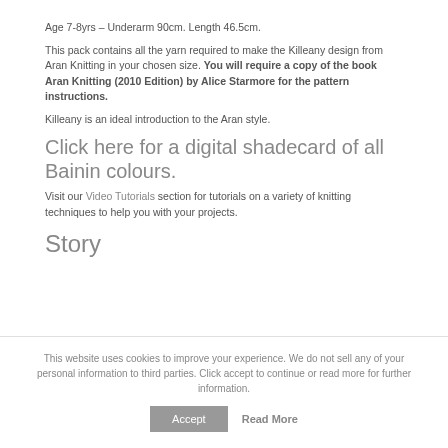Age 7-8yrs – Underarm 90cm. Length 46.5cm.
This pack contains all the yarn required to make the Killeany design from Aran Knitting in your chosen size. You will require a copy of the book Aran Knitting (2010 Edition) by Alice Starmore for the pattern instructions.
Killeany is an ideal introduction to the Aran style.
Click here for a digital shadecard of all Bainin colours.
Visit our Video Tutorials section for tutorials on a variety of knitting techniques to help you with your projects.
Story
This website uses cookies to improve your experience. We do not sell any of your personal information to third parties. Click accept to continue or read more for further information.